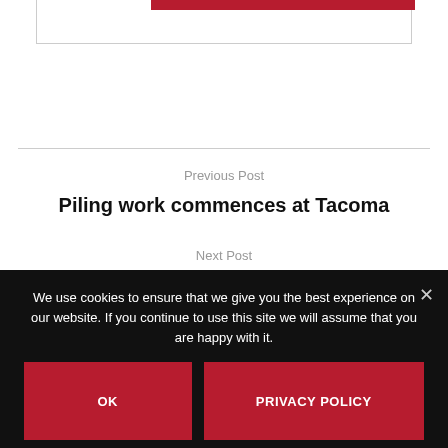Previous Post
Piling work commences at Tacoma
Next Post
Kalmar acquires software firm ACT
We use cookies to ensure that we give you the best experience on our website. If you continue to use this site we will assume that you are happy with it.
OK
PRIVACY POLICY